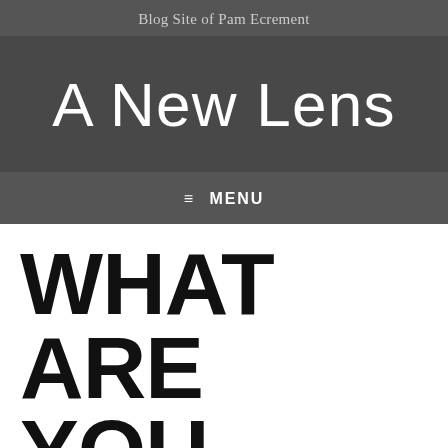Blog Site of Pam Ecrement
A New Lens
≡ MENU
WHAT ARE YOU